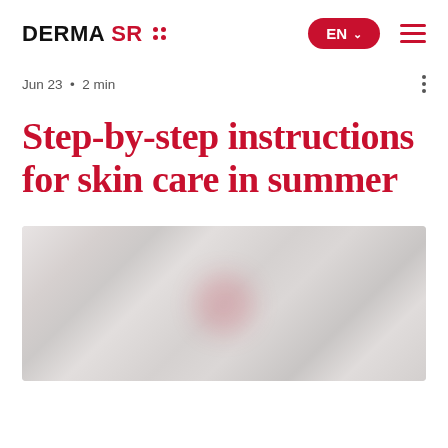DERMA SR :: EN
Jun 23 · 2 min
Step-by-step instructions for skin care in summer
[Figure (photo): Blurred background image of skin care products on a light grey/white surface]